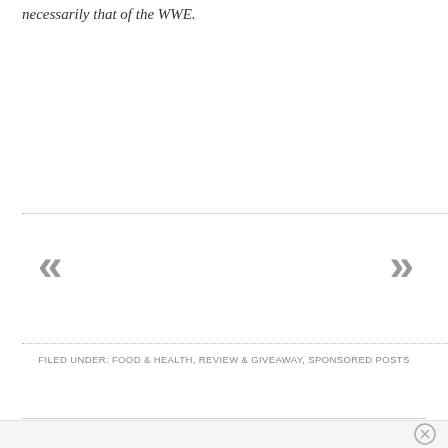necessarily that of the WWE.
«
»
FILED UNDER: FOOD & HEALTH, REVIEW & GIVEAWAY, SPONSORED POSTS